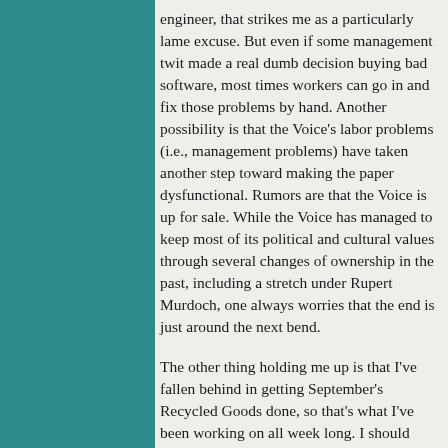engineer, that strikes me as a particularly lame excuse. But even if some management twit made a real dumb decision buying bad software, most times workers can go in and fix those problems by hand. Another possibility is that the Voice's labor problems (i.e., management problems) have taken another step toward making the paper dysfunctional. Rumors are that the Voice is up for sale. While the Voice has managed to keep most of its political and cultural values through several changes of ownership in the past, including a stretch under Rupert Murdoch, one always worries that the end is just around the next bend.
The other thing holding me up is that I've fallen behind in getting September's Recycled Goods done, so that's what I've been working on all week long. I should have that done later today, and hope to build up some extras in the next week so I don't get caught short next time like I did this time. I haven't made much of an effort to line up Recycled records, but it's starting to look like I might be running low, of good records, anyway.
Meanwhile, some news items: